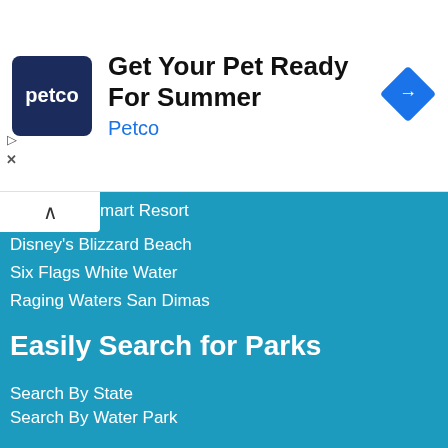[Figure (screenshot): Petco advertisement banner with logo, text 'Get Your Pet Ready For Summer', 'Petco', and a blue navigation icon]
mart Resort
Disney's Blizzard Beach
Six Flags White Water
Raging Waters San Dimas
Easily Search for Parks
Search By State
Search By Water Park
Water Park by Country
United States Water Parks
© Copyright 2022 Water Park Coupons.NET
All rights reserved - Privacy Policy